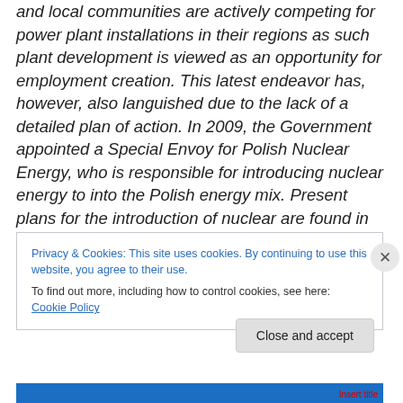and local communities are actively competing for power plant installations in their regions as such plant development is viewed as an opportunity for employment creation. This latest endeavor has, however, also languished due to the lack of a detailed plan of action. In 2009, the Government appointed a Special Envoy for Polish Nuclear Energy, who is responsible for introducing nuclear energy to into the Polish energy mix. Present plans for the introduction of nuclear are found in the following table.
Privacy & Cookies: This site uses cookies. By continuing to use this website, you agree to their use.
To find out more, including how to control cookies, see here: Cookie Policy
Close and accept